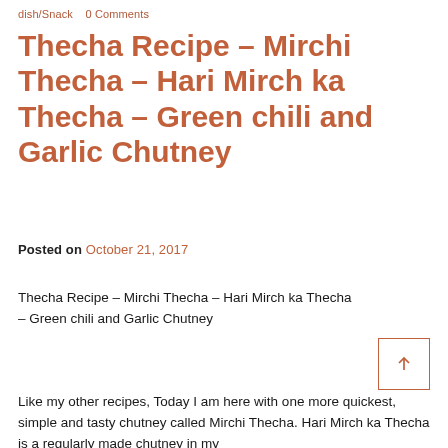dish/Snack   0 Comments
Thecha Recipe – Mirchi Thecha – Hari Mirch ka Thecha – Green chili and Garlic Chutney
Posted on October 21, 2017
Thecha Recipe – Mirchi Thecha – Hari Mirch ka Thecha – Green chili and Garlic Chutney
Like my other recipes, Today I am here with one more quickest, simple and tasty chutney called Mirchi Thecha. Hari Mirch ka Thecha is a regularly made chutney in my